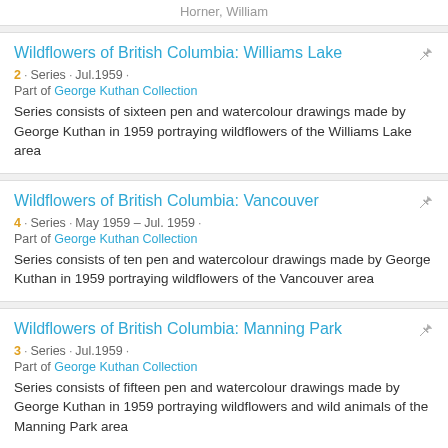Horner, William
Wildflowers of British Columbia: Williams Lake · 2 · Series · Jul.1959 · Part of George Kuthan Collection · Series consists of sixteen pen and watercolour drawings made by George Kuthan in 1959 portraying wildflowers of the Williams Lake area
Wildflowers of British Columbia: Vancouver · 4 · Series · May 1959 – Jul. 1959 · Part of George Kuthan Collection · Series consists of ten pen and watercolour drawings made by George Kuthan in 1959 portraying wildflowers of the Vancouver area
Wildflowers of British Columbia: Manning Park · 3 · Series · Jul.1959 · Part of George Kuthan Collection · Series consists of fifteen pen and watercolour drawings made by George Kuthan in 1959 portraying wildflowers and wild animals of the Manning Park area